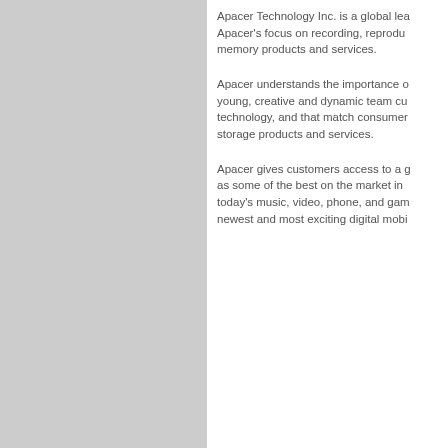Apacer Technology Inc. is a global lea... Apacer's focus on recording, reprodu... memory products and services.
Apacer understands the importance o... young, creative and dynamic team cu... technology, and that match consumer... storage products and services.
Apacer gives customers access to a g... as some of the best on the market in... today's music, video, phone, and gam... newest and most exciting digital mobi...